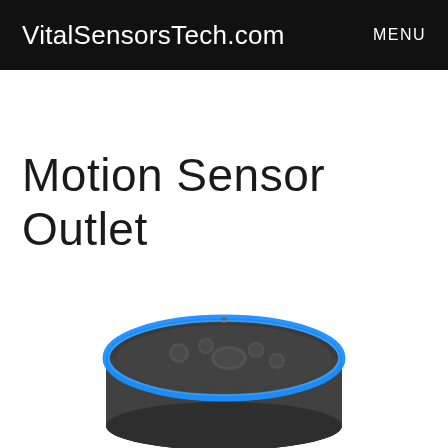VitalSensorsTech.com   MENU
Motion Sensor Outlet
[Figure (photo): Amazon Echo (3rd generation) smart speaker viewed from above, showing dark gray fabric mesh body with a glowing blue ring light around the top edge and four buttons on the top surface.]